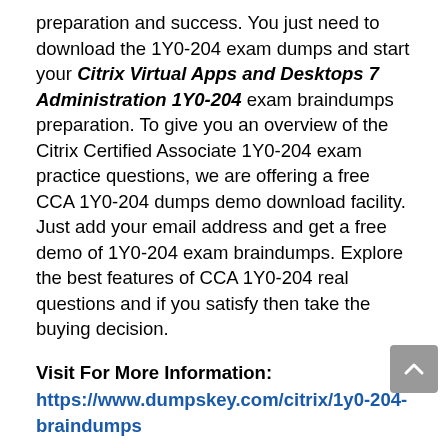preparation and success. You just need to download the 1Y0-204 exam dumps and start your Citrix Virtual Apps and Desktops 7 Administration 1Y0-204 exam braindumps preparation. To give you an overview of the Citrix Certified Associate 1Y0-204 exam practice questions, we are offering a free CCA 1Y0-204 dumps demo download facility. Just add your email address and get a free demo of 1Y0-204 exam braindumps. Explore the best features of CCA 1Y0-204 real questions and if you satisfy then take the buying decision.
Visit For More Information:
https://www.dumpskey.com/citrix/1y0-204-braindumps
Three Top Rated DumpsKey Citrix 1Y0-204 Exam Practice Questions